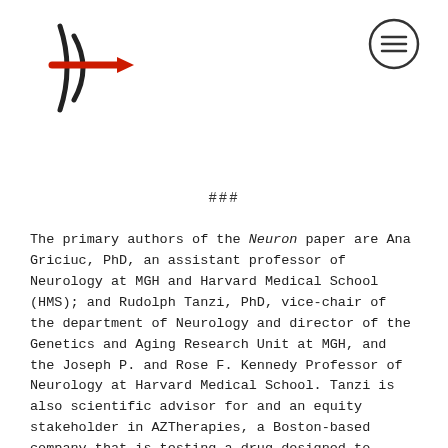[Figure (logo): Website logo: stylized arrow/chevron mark in black with a red horizontal arrow through it, pointing right]
[Figure (other): Hamburger menu icon: circle with three horizontal lines inside, top right corner]
###
The primary authors of the Neuron paper are Ana Griciuc, PhD, an assistant professor of Neurology at MGH and Harvard Medical School (HMS); and Rudolph Tanzi, PhD, vice-chair of the department of Neurology and director of the Genetics and Aging Research Unit at MGH, and the Joseph P. and Rose F. Kennedy Professor of Neurology at Harvard Medical School. Tanzi is also scientific advisor for and an equity stakeholder in AZTherapies, a Boston-based company that is testing a drug designed to reduce neuroinflammation called ALZT-OP1 in a phase III clinical trial.